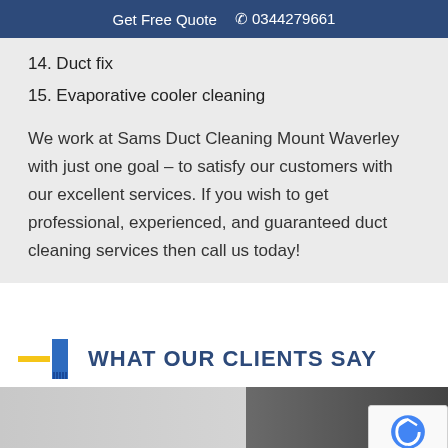Get Free Quote  📞 0344279661
14. Duct fix
15. Evaporative cooler cleaning
We work at Sams Duct Cleaning Mount Waverley with just one goal – to satisfy our customers with our excellent services. If you wish to get professional, experienced, and guaranteed duct cleaning services then call us today!
WHAT OUR CLIENTS SAY
[Figure (photo): Photo strip showing duct cleaning related imagery, partially obscured by reCAPTCHA badge]